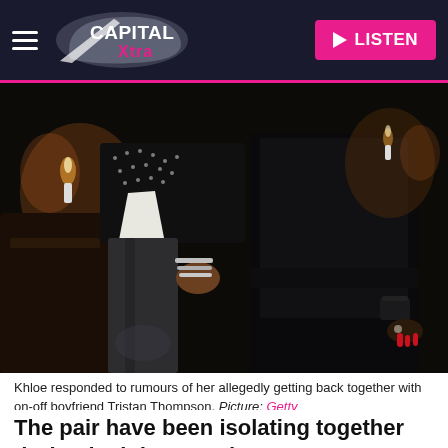Capital Xtra | LISTEN
[Figure (photo): Cropped photo of two people standing together in a dark restaurant or venue setting. The person on the left wears dark jeans and a black studded top with a white shirt underneath, showing silver bracelets. The person on the right wears an all-black outfit with a long coat and has red nails.]
Khloe responded to rumours of her allegedly getting back together with on-off boyfriend Tristan Thompson. Picture: Getty
The pair have been isolating together during lockdown and